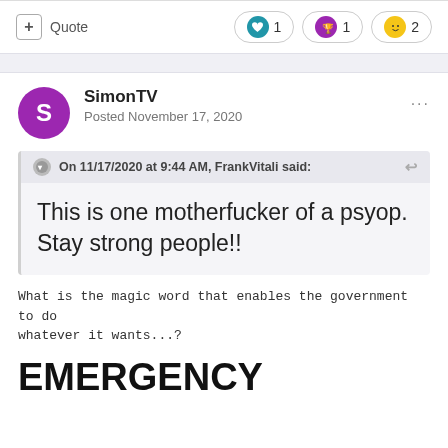+ Quote | ❤ 1 | 🏆 1 | 😂 2
SimonTV
Posted November 17, 2020
On 11/17/2020 at 9:44 AM, FrankVitali said:
This is one motherfucker of a psyop. Stay strong people!!
What is the magic word that enables the government to do whatever it wants...?
EMERGENCY